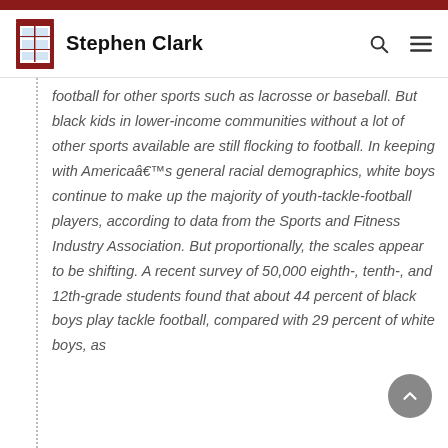Stephen Clark
football for other sports such as lacrosse or baseball. But black kids in lower-income communities without a lot of other sports available are still flocking to football. In keeping with Americaâ€™s general racial demographics, white boys continue to make up the majority of youth-tackle-football players, according to data from the Sports and Fitness Industry Association. But proportionally, the scales appear to be shifting. A recent survey of 50,000 eighth-, tenth-, and 12th-grade students found that about 44 percent of black boys play tackle football, compared with 29 percent of white boys, as